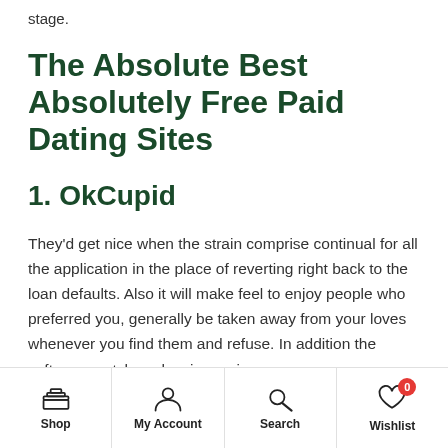stage.
The Absolute Best Absolutely Free Paid Dating Sites
1. OkCupid
They'd get nice when the strain comprise continual for all the application in the place of reverting right back to the loan defaults. Also it will make feel to enjoy people who preferred you, generally be taken away from your loves whenever you find them and refuse. In addition the software matches showing up in-app
Shop | My Account | Search | Wishlist